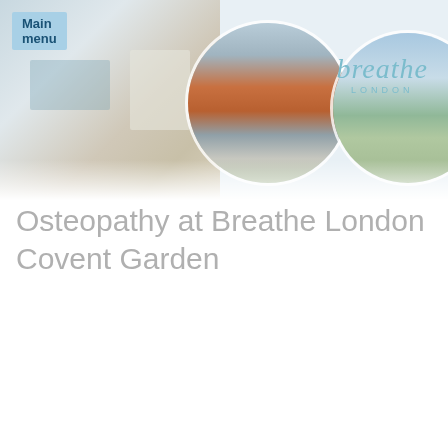Main menu
[Figure (photo): Header banner with room interior photograph, circular city skyline image, circular landscape image, and Breathe London logo text]
Osteopathy at Breathe London Covent Garden
[Figure (photo): Osteopathy treatment photo showing a person's bare back with a practitioner's hand on their shoulder, with anatomical skeleton and body posters in the background]